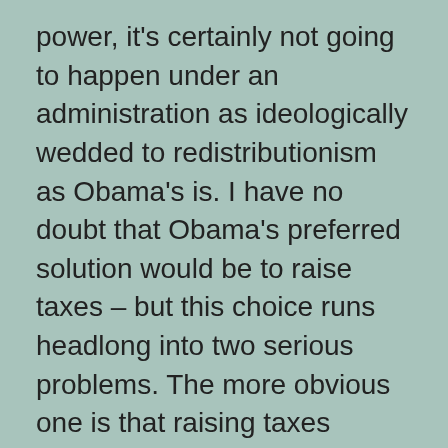power, it's certainly not going to happen under an administration as ideologically wedded to redistributionism as Obama's is. I have no doubt that Obama's preferred solution would be to raise taxes – but this choice runs headlong into two serious problems. The more obvious one is that raising taxes during a recession will prolong the recession by suppressing employment and investment, handing the 2010 midterms to the Republicans.

The less obvious one is that raising taxes might not raise revenues even if it could be